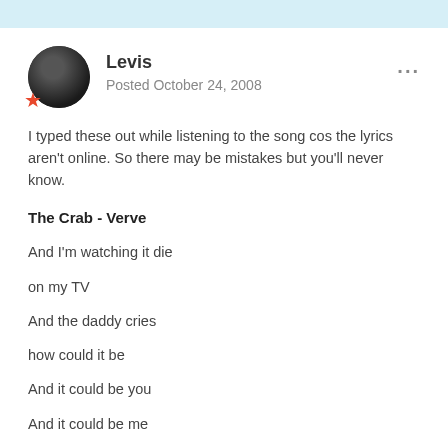Levis
Posted October 24, 2008
I typed these out while listening to the song cos the lyrics aren't online. So there may be mistakes but you'll never know.
The Crab - Verve
And I'm watching it die
on my TV
And the daddy cries
how could it be
And it could be you
And it could be me
Child full of giving
Child full of hoping